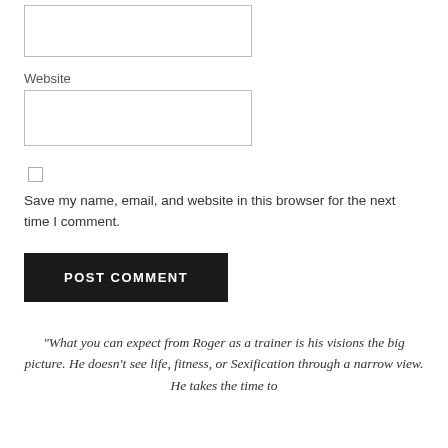[Figure (screenshot): Empty text input box for a form field (top portion, no label visible)]
Website
[Figure (screenshot): Empty text input box for Website field]
[Figure (screenshot): Unchecked checkbox]
Save my name, email, and website in this browser for the next time I comment.
[Figure (screenshot): POST COMMENT button, black background, white uppercase text]
“What you can expect from Roger as a trainer is his visions the big picture. He doesn’t see life, fitness, or Sexification through a narrow view. He takes the time to